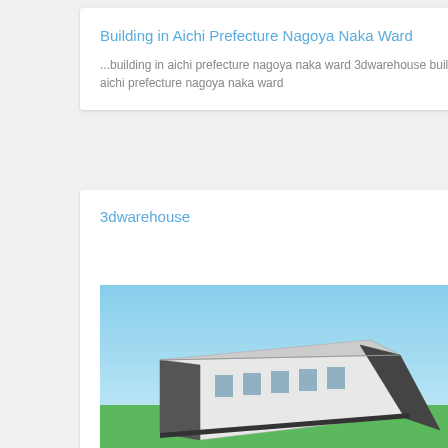Building in Aichi Prefecture Nagoya Naka Ward
...building in aichi prefecture nagoya naka ward 3dwarehouse building in aichi prefecture nagoya naka ward
3dwarehouse   free
[Figure (photo): 3D model rendering of a building in Nagoya City, Aichi Prefecture, Japan. Shows a low industrial/commercial building with white and dark walls, viewed from above at an angle, with green ground and light blue sky.]
Building in Nagoya City, Aichi Prefecture, Japan